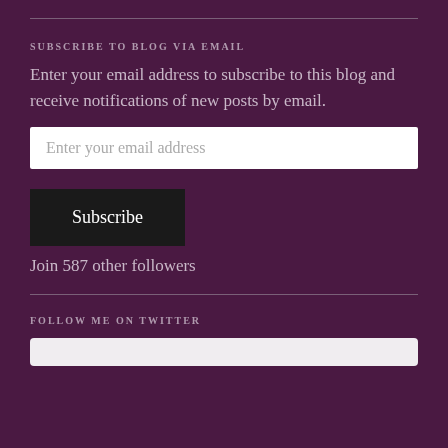SUBSCRIBE TO BLOG VIA EMAIL
Enter your email address to subscribe to this blog and receive notifications of new posts by email.
Enter your email address
Subscribe
Join 587 other followers
FOLLOW ME ON TWITTER